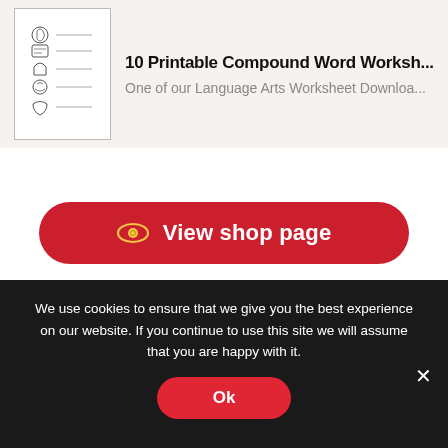[Figure (illustration): Thumbnail of a printable compound word worksheet showing icons and lines]
10 Printable Compound Word Worksh...
One of our Language Arts Worksheet Downloa...
View shop page
[Figure (logo): Made by Teachers logo with apple and open book icon]
Downloadable resources for teachers, parents, and students...
We use cookies to ensure that we give you the best experience on our website. If you continue to use this site we will assume that you are happy with it.
Ok